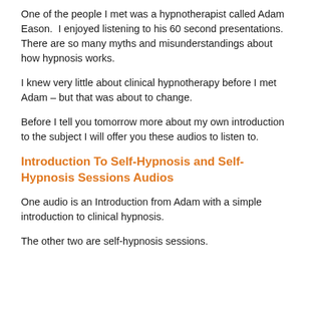One of the people I met was a hypnotherapist called Adam Eason.  I enjoyed listening to his 60 second presentations.  There are so many myths and misunderstandings about how hypnosis works.
I knew very little about clinical hypnotherapy before I met Adam – but that was about to change.
Before I tell you tomorrow more about my own introduction to the subject I will offer you these audios to listen to.
Introduction To Self-Hypnosis and Self-Hypnosis Sessions Audios
One audio is an Introduction from Adam with a simple introduction to clinical hypnosis.
The other two are self-hypnosis sessions.